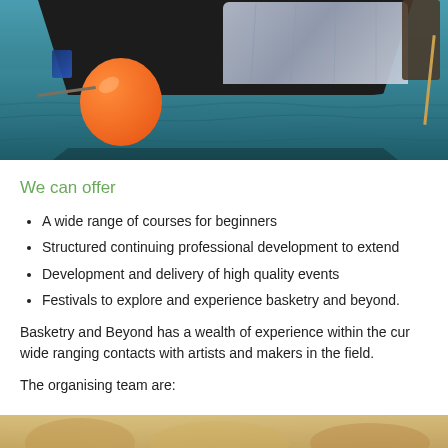[Figure (photo): Photograph of boats moored on green/teal water. A large dark-hulled boat with a grey tarpaulin cover is visible. An orange round buoy is prominently in the foreground-left. A person is visible on the right. Ropes are visible.]
We can offer
A wide range of courses for beginners
Structured continuing professional development to extend
Development and delivery of high quality events
Festivals to explore and experience basketry and beyond.
Basketry and Beyond has a wealth of experience within the cur wide ranging contacts with artists and makers in the field.
The organising team are:
[Figure (photo): Partial photograph visible at bottom of page, appears to show people or objects in warm/sandy tones.]